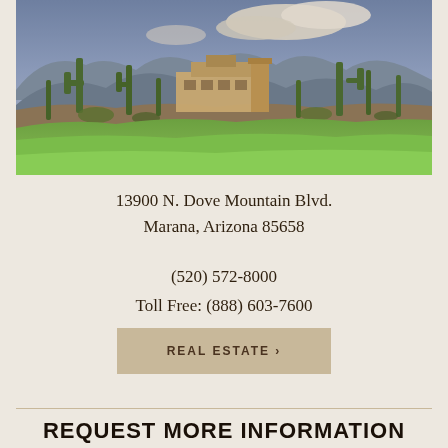[Figure (photo): Photograph of a luxury desert home at Dove Mountain with saguaro cacti, mountain backdrop, and green golf course lawn in foreground]
13900 N. Dove Mountain Blvd.
Marana, Arizona 85658
(520) 572-8000
Toll Free: (888) 603-7600
REAL ESTATE ›
REQUEST MORE INFORMATION